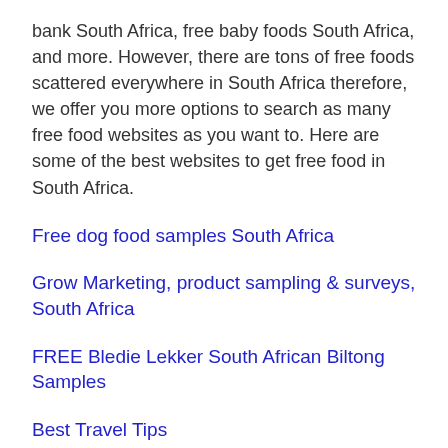bank South Africa, free baby foods South Africa, and more. However, there are tons of free foods scattered everywhere in South Africa therefore, we offer you more options to search as many free food websites as you want to. Here are some of the best websites to get free food in South Africa.
Free dog food samples South Africa
Grow Marketing, product sampling & surveys, South Africa
FREE Bledie Lekker South African Biltong Samples
Best Travel Tips
Small Business Ideas
Best Eventful Ideas